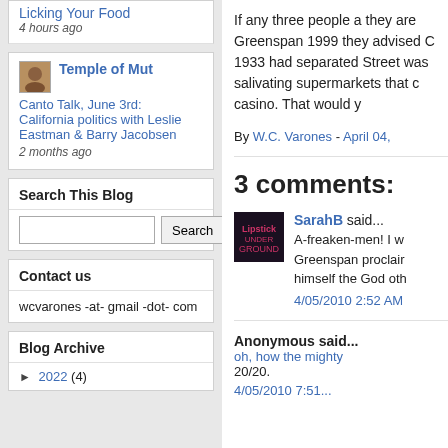Licking Your Food
4 hours ago
Temple of Mut
Canto Talk, June 3rd: California politics with Leslie Eastman & Barry Jacobsen
2 months ago
Search This Blog
Contact us
wcvarones -at- gmail -dot- com
Blog Archive
► 2022 (4)
If any three people a they are Greenspan 1999 they advised C 1933 had separated Street was salivating supermarkets that c casino. That would y
By W.C. Varones - April 04,
3 comments:
SarahB said...
A-freaken-men! I w Greenspan proclair himself the God oth
4/05/2010 2:52 AM
Anonymous said...
oh, how the mighty 20/20.
4/05/2010 7:51...